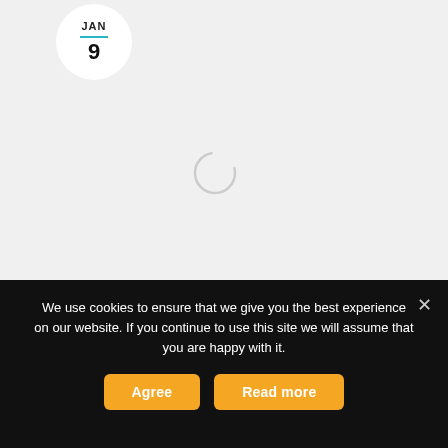[Figure (other): Date badge circle showing JAN 9 with a teal divider line, on a light grey background with a loading spinner circle in the center of the grey area]
We use cookies to ensure that we give you the best experience on our website. If you continue to use this site we will assume that you are happy with it.
Agree
Read more